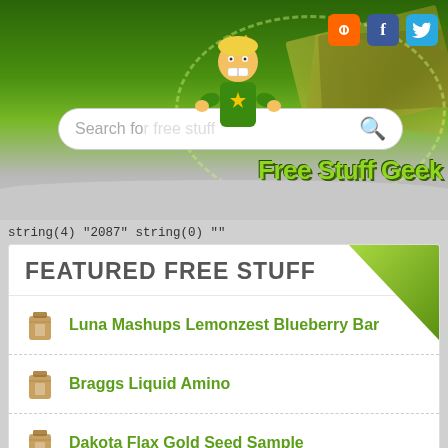[Figure (screenshot): Free Stuff Geek website header with mascot character, money bills background, search bar, social media icons (RSS, Facebook, Twitter), and green logo text reading 'Free Stuff Geek']
string(4) "2087" string(0) ""
FEATURED FREE STUFF
Luna Mashups Lemonzest Blueberry Bar
Braggs Liquid Amino
Dakota Flax Gold Seed Sample
Purple Stork Birth Announcment
Baby CD